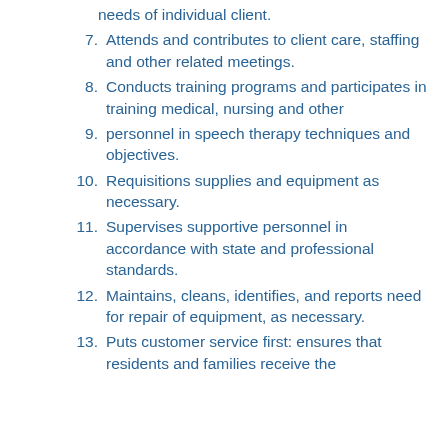needs of individual client.
7. Attends and contributes to client care, staffing and other related meetings.
8. Conducts training programs and participates in training medical, nursing and other
9. personnel in speech therapy techniques and objectives.
10. Requisitions supplies and equipment as necessary.
11. Supervises supportive personnel in accordance with state and professional standards.
12. Maintains, cleans, identifies, and reports need for repair of equipment, as necessary.
13. Puts customer service first: ensures that residents and families receive the